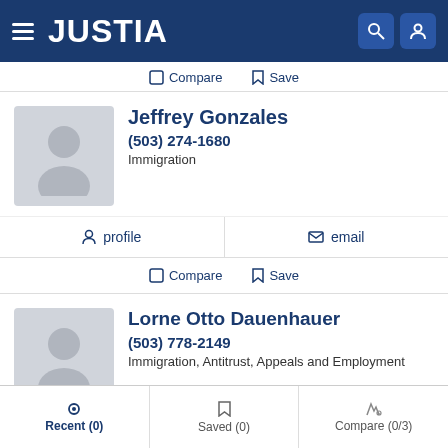JUSTIA
Compare  Save
Jeffrey Gonzales
(503) 274-1680
Immigration
profile   email
Compare  Save
Lorne Otto Dauenhauer
(503) 778-2149
Immigration, Antitrust, Appeals and Employment
website   profile   email
Recent (0)   Saved (0)   Compare (0/3)